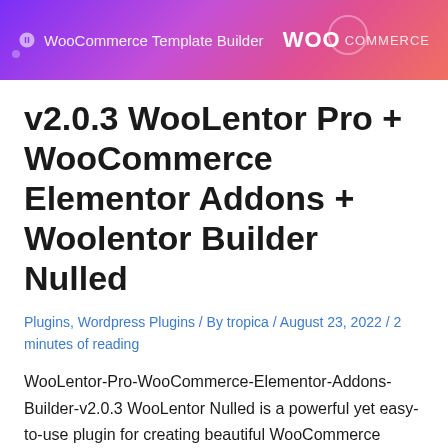[Figure (screenshot): WooCommerce Template Builder banner with purple-pink gradient background, showing 'WooCommerce Template Builder' text on the left and 'WOO COMMERCE' logo on the right]
v2.0.3 WooLentor Pro + WooCommerce Elementor Addons + Woolentor Builder Nulled
Plugins, Wordpress Plugins / By tropica / August 23, 2022 / 2 minutes of reading
WooLentor-Pro-WooCommerce-Elementor-Addons-Builder-v2.0.3 WooLentor Nulled is a powerful yet easy-to-use plugin for creating beautiful WooCommerce pages with stunning design. It has the …
WooCommerce Custom